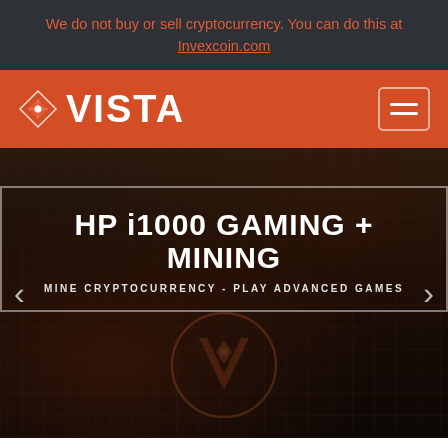We do not buy or sell cryptocurrency. You can do this at Invexcoin.com
[Figure (logo): Vista logo with orange diamond/eye icon and white VISTA text on orange navigation header with hamburger menu button]
[Figure (screenshot): HP i1000 GAMING + MINING hero banner with subtitle MINE CRYPTOCURRENCY - PLAY ADVANCED GAMES, dark background with circuit board texture and Vista logo watermark, navigation arrows on left and right]